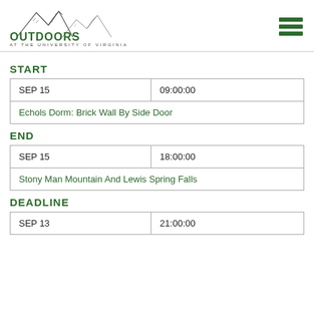[Figure (logo): Outdoors at the University of Virginia logo with mountain illustration]
START
| SEP 15 | 09:00:00 |
| Echols Dorm: Brick Wall By Side Door |  |
END
| SEP 15 | 18:00:00 |
| Stony Man Mountain And Lewis Spring Falls |  |
DEADLINE
| SEP 13 | 21:00:00 |